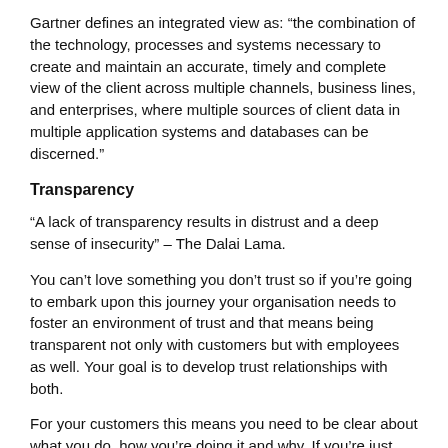Gartner defines an integrated view as: “the combination of the technology, processes and systems necessary to create and maintain an accurate, timely and complete view of the client across multiple channels, business lines, and enterprises, where multiple sources of client data in multiple application systems and databases can be discerned.”
Transparency
“A lack of transparency results in distrust and a deep sense of insecurity” – The Dalai Lama.
You can’t love something you don’t trust so if you’re going to embark upon this journey your organisation needs to foster an environment of trust and that means being transparent not only with customers but with employees as well. Your goal is to develop trust relationships with both.
For your customers this means you need to be clear about what you do, how you’re doing it and why. If you’re just starting your CX journey, begin with publishing your vision and mission statement along with your values and any relevant policies on topics such as corporate social responsibility, support and hiring practices. Ensure your customers know and understand your commitments and if you miss them (and this should be very, very rarely), openly discuss why that was the case